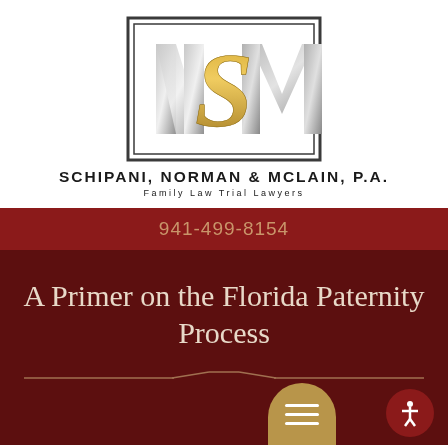[Figure (logo): NSM monogram logo with gold S and silver N and M letters inside a rectangular border]
SCHIPANI, NORMAN & MCLAIN, P.A.
FAMILY LAW TRIAL LAWYERS
941-499-8154
A Primer on the Florida Paternity Process